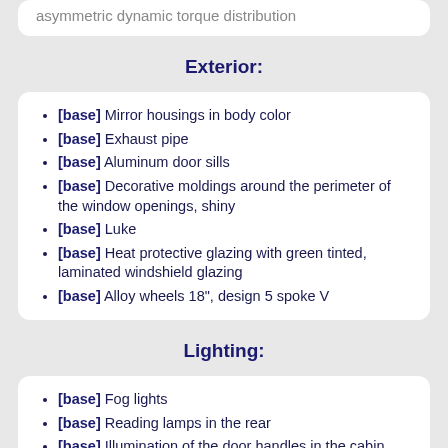asymmetric dynamic torque distribution
Exterior:
[base] Mirror housings in body color
[base] Exhaust pipe
[base] Aluminum door sills
[base] Decorative moldings around the perimeter of the window openings, shiny
[base] Luke
[base] Heat protective glazing with green tinted, laminated windshield glazing
[base] Alloy wheels 18", design 5 spoke V
Lighting:
[base] Fog lights
[base] Reading lamps in the rear
[base] Illumination of the door handles in the cabin
[base] Entry light
[base] Lights in the doors
[base] Illuminated footwell
[base] The illuminated glove box